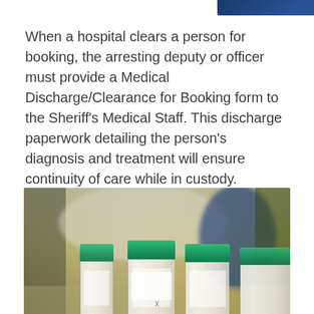[Figure (photo): Blue/dark decorative header bar at top of page]
When a hospital clears a person for booking, the arresting deputy or officer must provide a Medical Discharge/Clearance for Booking form to the Sheriff's Medical Staff. This discharge paperwork detailing the person's diagnosis and treatment will ensure continuity of care while in custody.
[Figure (photo): Photograph of three specimen/sample containers with green lids on a blurred laboratory background with yellow and dark tones]